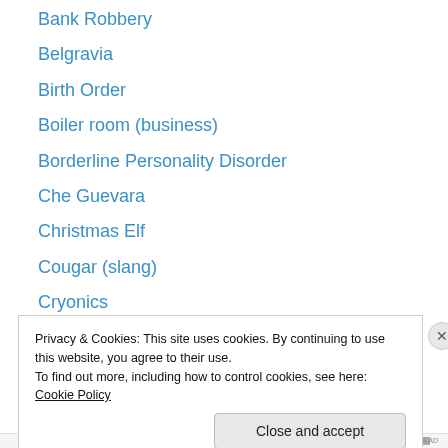Bank Robbery
Belgravia
Birth Order
Boiler room (business)
Borderline Personality Disorder
Che Guevara
Christmas Elf
Cougar (slang)
Cryonics
Dog Fighting
Edith Wharton
Electroconvulsive Therapy
Elizabethan Era
Extended Family
Privacy & Cookies: This site uses cookies. By continuing to use this website, you agree to their use.
To find out more, including how to control cookies, see here: Cookie Policy
Close and accept
REPORT THIS AD